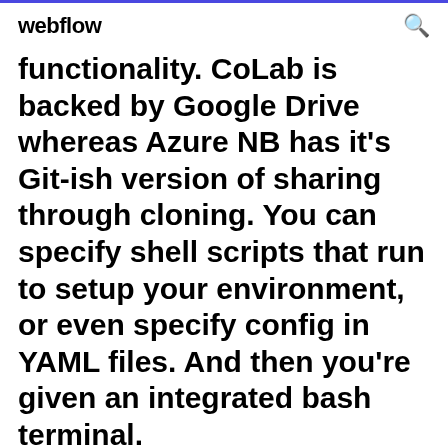webflow
functionality. CoLab is backed by Google Drive whereas Azure NB has it's Git-ish version of sharing through cloning. You can specify shell scripts that run to setup your environment, or even specify config in YAML files. And then you're given an integrated bash terminal.
The Jupyter Notebook is an open source web application that you can use to create and share documents that contain live code, equations, visualizations, and text. Jupyter